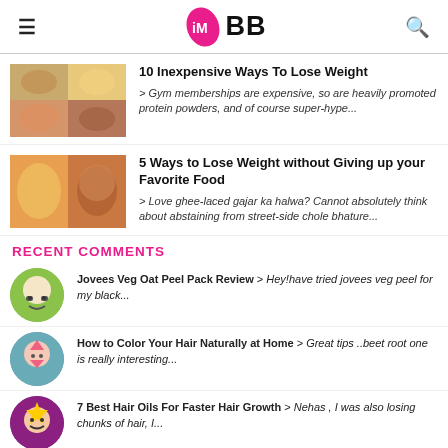IMBB
10 Inexpensive Ways To Lose Weight
> Gym memberships are expensive, so are heavily promoted protein powders, and of course super-hype...
5 Ways to Lose Weight without Giving up your Favorite Food
> Love ghee-laced gajar ka halwa? Cannot absolutely think about abstaining from street-side chole bhature...
RECENT COMMENTS
Jovees Veg Oat Peel Pack Review > Hey!have tried jovees veg peel for my black...
How to Color Your Hair Naturally at Home > Great tips ..beet root one is really interesting...
7 Best Hair Oils For Faster Hair Growth > Nehas , I was also losing chunks of hair, I...